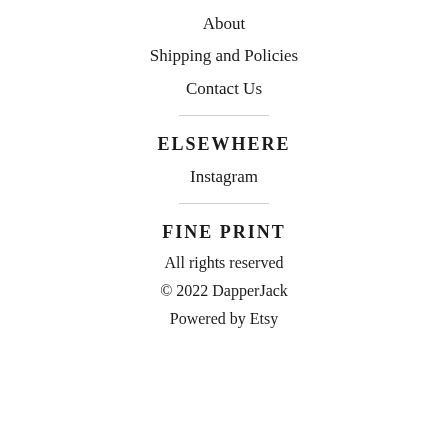About
Shipping and Policies
Contact Us
ELSEWHERE
Instagram
FINE PRINT
All rights reserved
© 2022 DapperJack
Powered by Etsy